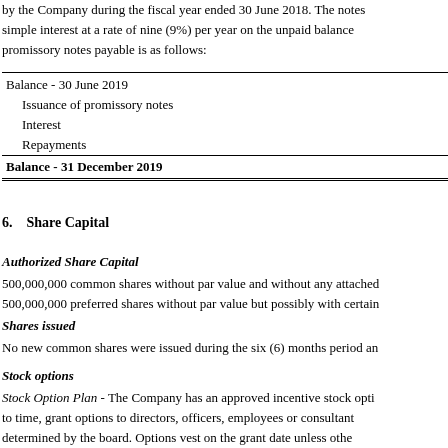by the Company during the fiscal year ended 30 June 2018. The notes simple interest at a rate of nine (9%) per year on the unpaid balance promissory notes payable is as follows:
|  |  |
| --- | --- |
| Balance - 30 June 2019 |  |
| Issuance of promissory notes |  |
| Interest |  |
| Repayments |  |
| Balance - 31 December 2019 |  |
6.    Share Capital
Authorized Share Capital
500,000,000 common shares without par value and without any attached 500,000,000 preferred shares without par value but possibly with certain
Shares issued
No new common shares were issued during the six (6) months period and
Stock options
Stock Option Plan - The Company has an approved incentive stock option to time, grant options to directors, officers, employees or consultants determined by the board. Options vest on the grant date unless otherwise common shares which may be reserved as outstanding options shall not held by any one individual at any one time shall not exceed 7.5%